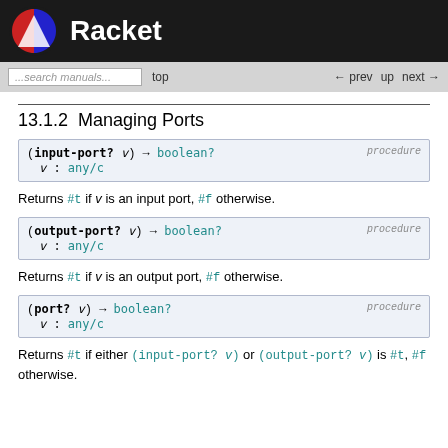Racket
13.1.2  Managing Ports
(input-port? v) → boolean?  v : any/c  procedure
Returns #t if v is an input port, #f otherwise.
(output-port? v) → boolean?  v : any/c  procedure
Returns #t if v is an output port, #f otherwise.
(port? v) → boolean?  v : any/c  procedure
Returns #t if either (input-port? v) or (output-port? v) is #t, #f otherwise.